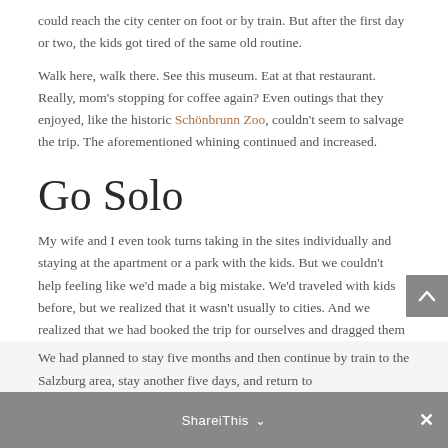could reach the city center on foot or by train. But after the first day or two, the kids got tired of the same old routine.
Walk here, walk there. See this museum. Eat at that restaurant. Really, mom’s stopping for coffee again? Even outings that they enjoyed, like the historic Schönbrunn Zoo, couldn’t seem to salvage the trip. The aforementioned whining continued and increased.
Go Solo
My wife and I even took turns taking in the sites individually and staying at the apartment or a park with the kids. But we couldn’t help feeling like we’d made a big mistake. We’d traveled with kids before, but we realized that it wasn’t usually to cities. And we realized that we had booked the trip for ourselves and dragged them along. In order to save our trip we had to come up with activities that would appeal to both the kids and us.
We had planned to stay five months and then continue by train to the Salzburg area, stay another five days, and return to...
ShareiThis